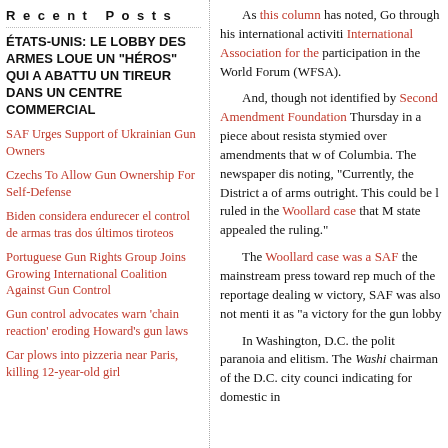Recent Posts
ÉTATS-UNIS: LE LOBBY DES ARMES LOUE UN «HÉROS» QUI A ABATTU UN TIREUR DANS UN CENTRE COMMERCIAL
SAF Urges Support of Ukrainian Gun Owners
Czechs To Allow Gun Ownership For Self-Defense
Biden considera endurecer el control de armas tras dos últimos tiroteos
Portuguese Gun Rights Group Joins Growing International Coalition Against Gun Control
Gun control advocates warn 'chain reaction' eroding Howard's gun laws
Car plows into pizzeria near Paris, killing 12-year-old girl
As this column has noted, Go through his international activities, International Association for the participation in the World Forum (WFSA).
And, though not identified by Second Amendment Foundation Thursday in a piece about resistance stymied over amendments that w of Columbia. The newspaper dis noting, "Currently, the District a of arms outright. This could be l ruled in the Woollard case that M state appealed the ruling."
The Woollard case was a SAF the mainstream press toward rep much of the reportage dealing w victory, SAF was also not menti it as "a victory for the gun lobby
In Washington, D.C. the polit paranoia and elitism. The Washi chairman of the D.C. city counci indicating for domestic in